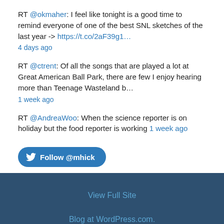RT @okmaher: I feel like tonight is a good time to remind everyone of one of the best SNL sketches of the last year -> https://t.co/2aF39g1…
4 days ago
RT @ctrent: Of all the songs that are played a lot at Great American Ball Park, there are few I enjoy hearing more than Teenage Wasteland b…
1 week ago
RT @AndreaWoo: When the science reporter is on holiday but the food reporter is working 1 week ago
Follow @mhick
View Full Site
Blog at WordPress.com.